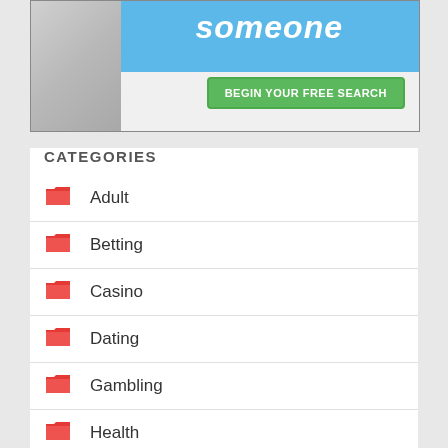[Figure (photo): Partial banner advertisement showing a person in a grey sweater with blue background text reading 'someone' and a green button labeled 'BEGIN YOUR FREE SEARCH']
CATEGORIES
Adult
Betting
Casino
Dating
Gambling
Health
Indus...